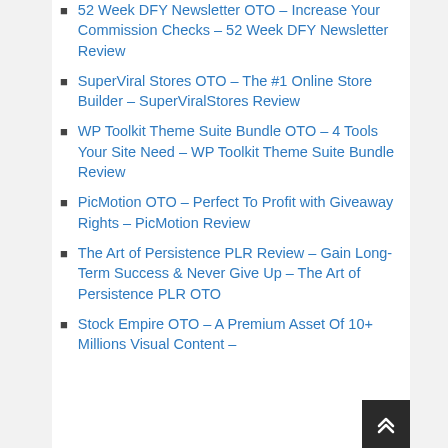52 Week DFY Newsletter OTO – Increase Your Commission Checks – 52 Week DFY Newsletter Review
SuperViral Stores OTO – The #1 Online Store Builder – SuperViralStores Review
WP Toolkit Theme Suite Bundle OTO – 4 Tools Your Site Need – WP Toolkit Theme Suite Bundle Review
PicMotion OTO – Perfect To Profit with Giveaway Rights – PicMotion Review
The Art of Persistence PLR Review – Gain Long-Term Success & Never Give Up – The Art of Persistence PLR OTO
Stock Empire OTO – A Premium Asset Of 10+ Millions Visual Content –